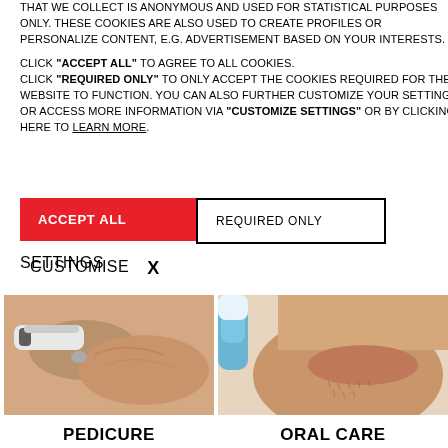THAT WE COLLECT IS ANONYMOUS AND USED FOR STATISTICAL PURPOSES ONLY. THESE COOKIES ARE ALSO USED TO CREATE PROFILES OR PERSONALIZE CONTENT, E.G. ADVERTISEMENT BASED ON YOUR INTERESTS.
CLICK "ACCEPT ALL" TO AGREE TO ALL COOKIES. CLICK "REQUIRED ONLY" TO ONLY ACCEPT THE COOKIES REQUIRED FOR THE WEBSITE TO FUNCTION. YOU CAN ALSO FURTHER CUSTOMIZE YOUR SETTINGS OR ACCESS MORE INFORMATION VIA "CUSTOMIZE SETTINGS" OR BY CLICKING HERE TO LEARN MORE.
ACCEPT ALL | REQUIRED ONLY | CUSTOMISE | X | SETTINGS
[Figure (photo): Pedicure device being used on a foot/skin]
PEDICURE
[Figure (photo): Close-up of a person's lower face/chin with oral care device]
ORAL CARE